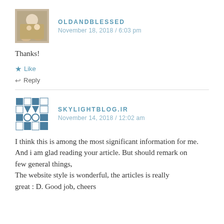[Figure (photo): Avatar photo of OLDANDBLESSED commenter, small square image showing people]
OLDANDBLESSED
November 18, 2018 / 6:03 pm
Thanks!
★ Like
↩ Reply
[Figure (illustration): Avatar logo for SKYLIGHTBLOG.IR, a geometric pattern avatar]
SKYLIGHTBLOG.IR
November 14, 2018 / 12:02 am
I think this is among the most significant information for me. And i am glad reading your article. But should remark on few general things,
The website style is wonderful, the articles is really great : D. Good job, cheers